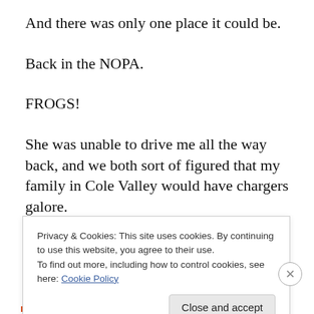And there was only one place it could be.
Back in the NOPA.
FROGS!
She was unable to drive me all the way back, and we both sort of figured that my family in Cole Valley would have chargers galore.
True.
There would be a spare I could use that was attached to
Privacy & Cookies: This site uses cookies. By continuing to use this website, you agree to their use.
To find out more, including how to control cookies, see here: Cookie Policy
Close and accept